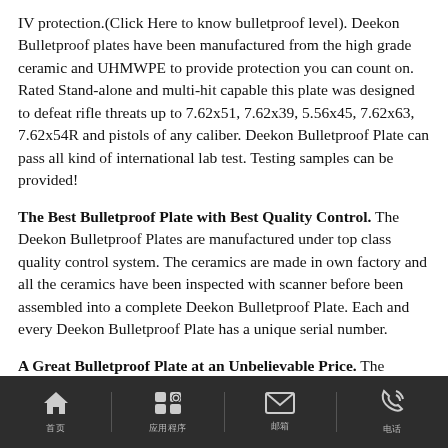IV protection.(Click Here to know bulletproof level). Deekon Bulletproof plates have been manufactured from the high grade ceramic and UHMWPE to provide protection you can count on. Rated Stand-alone and multi-hit capable this plate was designed to defeat rifle threats up to 7.62x51, 7.62x39, 5.56x45, 7.62x63, 7.62x54R and pistols of any caliber. Deekon Bulletproof Plate can pass all kind of international lab test. Testing samples can be provided!
The Best Bulletproof Plate with Best Quality Control. The Deekon Bulletproof Plates are manufactured under top class quality control system. The ceramics are made in own factory and all the ceramics have been inspected with scanner before been assembled into a complete Deekon Bulletproof Plate. Each and every Deekon Bulletproof Plate has a unique serial number.
A Great Bulletproof Plate at an Unbelievable Price. The Deekon Bulletproof Plate trusted by customers from more than 60
首页  应用程序  邮箱  电话